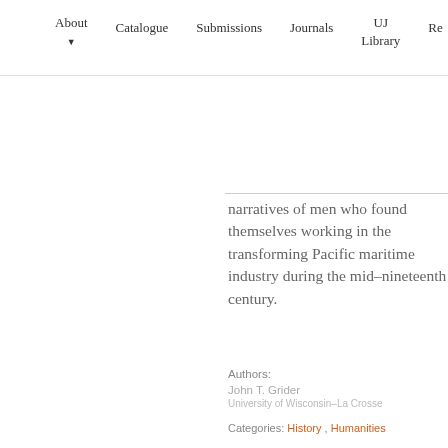About  Catalogue  Submissions  Journals  UJ Library  Re
narratives of men who found themselves working in the transforming Pacific maritime industry during the mid-nineteenth century.
Authors:
John T. Grider
University of Wisconsin-La Crosse
Categories: History , Humanities
[Figure (other): Orange PDF download button]
Document details